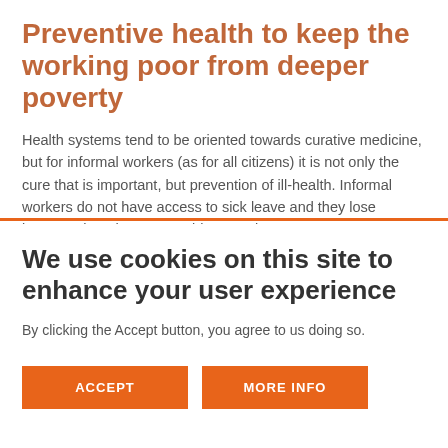Preventive health to keep the working poor from deeper poverty
Health systems tend to be oriented towards curative medicine, but for informal workers (as for all citizens) it is not only the cure that is important, but prevention of ill-health. Informal workers do not have access to sick leave and they lose income when they are unable to work.
We use cookies on this site to enhance your user experience
By clicking the Accept button, you agree to us doing so.